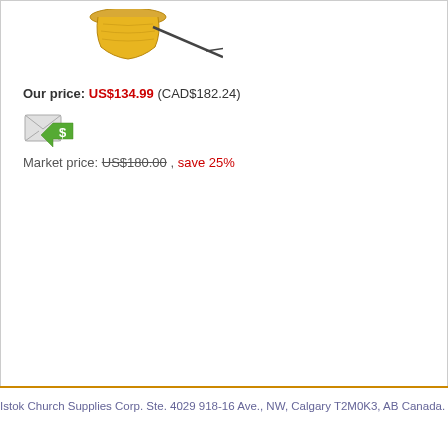[Figure (illustration): Partial view of a decorative gold product (appears to be a thurible or church incense burner) on white background]
Our price: US$134.99 (CAD$182.24)
[Figure (illustration): Email price alert icon - envelope with green dollar sign arrow]
Market price: US$180.00 , save 25%
Istok Church Supplies Corp. Ste. 4029 918-16 Ave., NW, Calgary T2M0K3, AB Canada. B